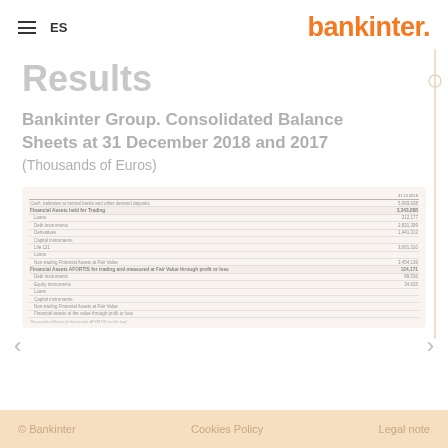ES | bankinter.
Results
Bankinter Group. Consolidated Balance Sheets at 31 December 2018 and 2017 (Thousands of Euros)
|  | 31.12.2018 |
| --- | --- |
| Cash, balances at central banks and other demand deposits | 5,093,638 |
| Financial Assets held for Trading | 3,243,888 |
| Loans | 212,177 |
| Debt instruments | 2,831,399 |
| Derivatives | 1,441,312 |
| Capital instruments |  |
| Life 121 | 3,001,310 |
| Loans |  |
| Non-trading Financial Assets at Fair Value | 3,454,139 |
| Financial Assets AFORTIS for trading and measured at Fair Value through profit or loss | 124,171 |
| Debt instruments | 89,536 |
| Equity instruments | 34,635 |
| Loans |  |
| Capital instruments |  |
| Non-trading Financial Assets at Fair Value |  |
| Financial assets at the value through profit or loss |  |
Thousands of Euros (in thousands, AFORTIS not the law)
© Bankinter   Cookies Policy   Legal note